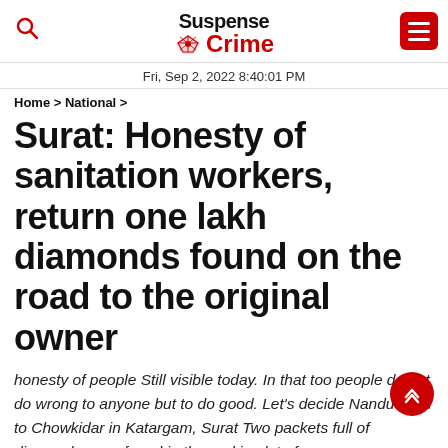Suspense Crime
Fri, Sep 2, 2022 8:40:01 PM
Home > National >
Surat: Honesty of sanitation workers, return one lakh diamonds found on the road to the original owner
honesty of people Still visible today. In that too people do not do wrong to anyone but to do good. Let's decide Nandudoshi to Chowkidar in Katargam, Surat Two packets full of diamonds were found in the parking lot of a